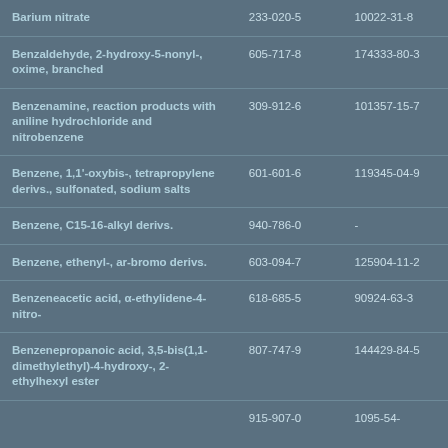| Substance | EC No. | CAS No. |
| --- | --- | --- |
| Barium nitrate | 233-020-5 | 10022-31-8 |
| Benzaldehyde, 2-hydroxy-5-nonyl-, oxime, branched | 605-717-8 | 174333-80-3 |
| Benzenamine, reaction products with aniline hydrochloride and nitrobenzene | 309-912-6 | 101357-15-7 |
| Benzene, 1,1'-oxybis-, tetrapropylene derivs., sulfonated, sodium salts | 601-601-6 | 119345-04-9 |
| Benzene, C15-16-alkyl derivs. | 940-786-0 | - |
| Benzene, ethenyl-, ar-bromo derivs. | 603-094-7 | 125904-11-2 |
| Benzeneacetic acid, α-ethylidene-4-nitro- | 618-685-5 | 90924-63-3 |
| Benzenepropanoic acid, 3,5-bis(1,1-dimethylethyl)-4-hydroxy-, 2-ethylhexyl ester | 807-747-9 | 144429-84-5 |
| (partial row) | 915-907-0 | 1095-54-... |